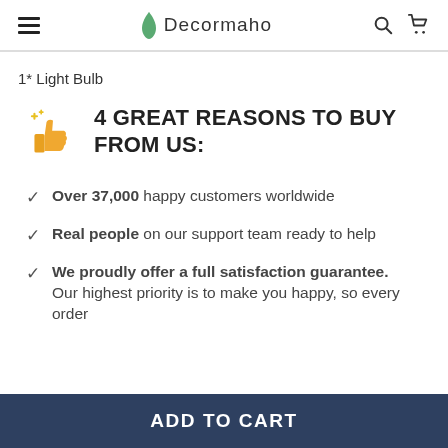Decormaho
1* Light Bulb
4 GREAT REASONS TO BUY FROM US:
Over 37,000 happy customers worldwide
Real people on our support team ready to help
We proudly offer a full satisfaction guarantee. Our highest priority is to make you happy, so every order
ADD TO CART